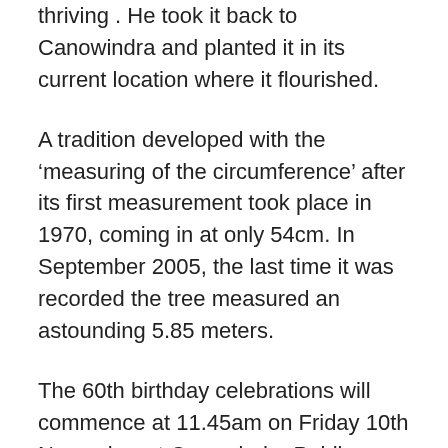thriving . He took it back to Canowindra and planted it in its current location where it flourished.
A tradition developed with the ‘measuring of the circumference’ after its first measurement took place in 1970, coming in at only 54cm. In September 2005, the last time it was recorded the tree measured an astounding 5.85 meters.
The 60th birthday celebrations will commence at 11.45am on Friday 10th November at Canowindra Public School. Ms Hawker has openly invited the local community and welcomes people to join in the measuring of the tree, cake and birthday festivities.
By Eleena Markcrow
Filed Under: Articles, General Interest